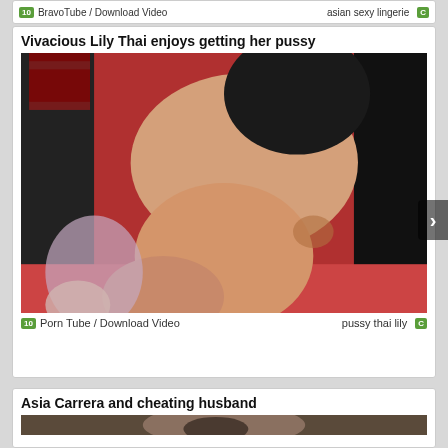BravoTube / Download Video   asian sexy lingerie
Vivacious Lily Thai enjoys getting her pussy
[Figure (photo): Thumbnail image for adult video titled Vivacious Lily Thai enjoys getting her pussy]
Porn Tube / Download Video   pussy thai lily
Asia Carrera and cheating husband
[Figure (photo): Thumbnail image for adult video titled Asia Carrera and cheating husband]